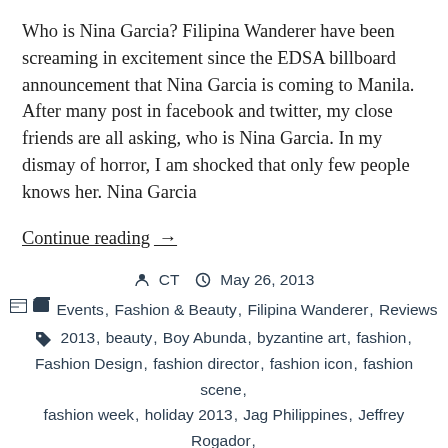Who is Nina Garcia? Filipina Wanderer have been screaming in excitement since the EDSA billboard announcement that Nina Garcia is coming to Manila.  After many post in facebook and twitter, my close friends are all asking, who is Nina Garcia. In my dismay of horror, I am shocked that only few people knows her. Nina Garcia
Continue reading →
CT  May 26, 2013
Events, Fashion & Beauty, Filipina Wanderer, Reviews
2013, beauty, Boy Abunda, byzantine art, fashion, Fashion Design, fashion director, fashion icon, fashion scene, fashion week, holiday 2013, Jag Philippines, Jeffrey Rogador, Jerome Salaya Ang, Manila, Marie Claire, Nina Garcia, Norman Noriega, phfw, philippine fashion week, Project Runway, style